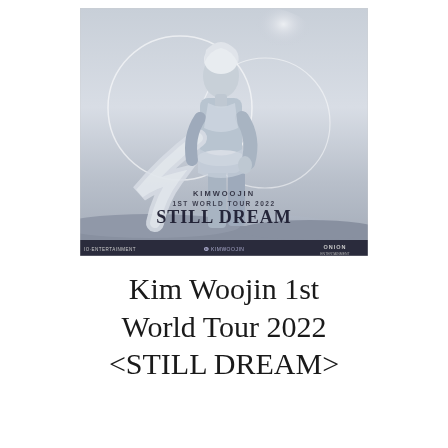[Figure (photo): Promotional poster for Kim Woojin 1st World Tour 2022 STILL DREAM. Shows a person with white/silver hair wearing a light blue outfit with flowing fabric, standing in a misty desert landscape with large circular geometric shapes in the background. Text on poster reads: KIMWOOJIN 1ST WORLD TOUR 2022 STILL DREAM. Bottom shows logos for IO Entertainment, Kim Woojin, and Onion.]
Kim Woojin 1st World Tour 2022 <STILL DREAM>